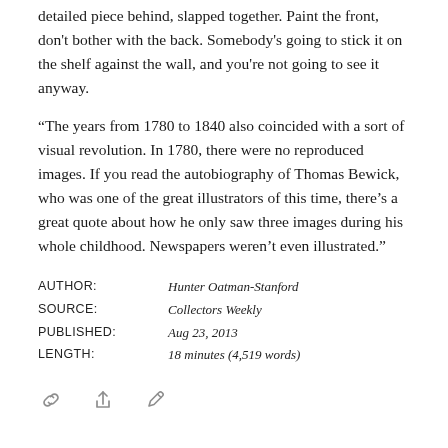detailed piece behind, slapped together. Paint the front, don't bother with the back. Somebody's going to stick it on the shelf against the wall, and you're not going to see it anyway.
“The years from 1780 to 1840 also coincided with a sort of visual revolution. In 1780, there were no reproduced images. If you read the autobiography of Thomas Bewick, who was one of the great illustrators of this time, there’s a great quote about how he only saw three images during his whole childhood. Newspapers weren’t even illustrated.”
AUTHOR: Hunter Oatman-Stanford
SOURCE: Collectors Weekly
PUBLISHED: Aug 23, 2013
LENGTH: 18 minutes (4,519 words)
[Figure (other): Three icon buttons: a link/chain icon, a share/upload icon, and a pencil/edit icon]